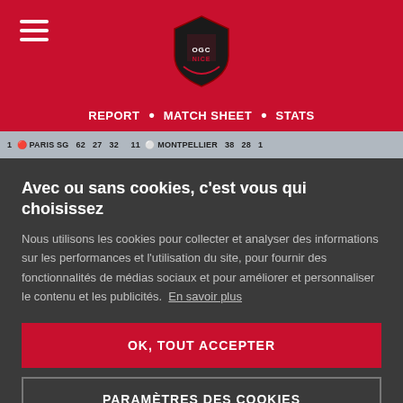OGC Nice logo and navigation header with hamburger menu
REPORT • MATCH SHEET • STATS
1 PARIS SG 62 27 32 11 MONTPELLIER 38 28 1
Avec ou sans cookies, c'est vous qui choisissez
Nous utilisons les cookies pour collecter et analyser des informations sur les performances et l'utilisation du site, pour fournir des fonctionnalités de médias sociaux et pour améliorer et personnaliser le contenu et les publicités. En savoir plus
OK, TOUT ACCEPTER
PARAMÈTRES DES COOKIES
TOUT REFUSER